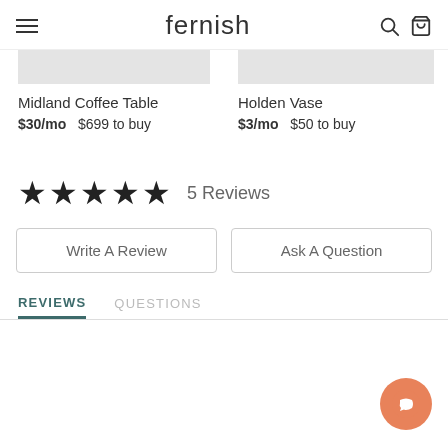fernish
[Figure (screenshot): Two product cards partially visible: Midland Coffee Table at $30/mo, $699 to buy; and Holden Vase at $3/mo, $50 to buy]
Midland Coffee Table
$30/mo  $699 to buy
Holden Vase
$3/mo  $50 to buy
★★★★★  5 Reviews
Write A Review
Ask A Question
REVIEWS   QUESTIONS